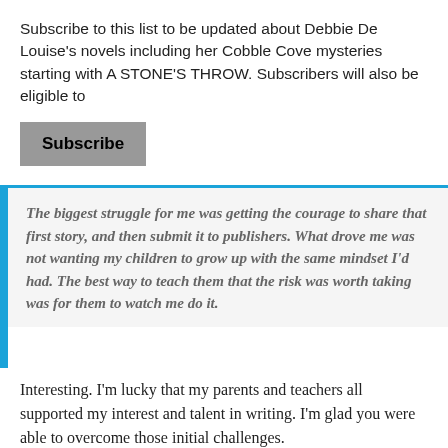Subscribe to this list to be updated about Debbie De Louise's novels including her Cobble Cove mysteries starting with A STONE'S THROW. Subscribers will also be eligible to
Subscribe
The biggest struggle for me was getting the courage to share that first story, and then submit it to publishers. What drove me was not wanting my children to grow up with the same mindset I'd had. The best way to teach them that the risk was worth taking was for them to watch me do it.
Interesting. I'm lucky that my parents and teachers all supported my interest and talent in writing. I'm glad you were able to overcome those initial challenges.